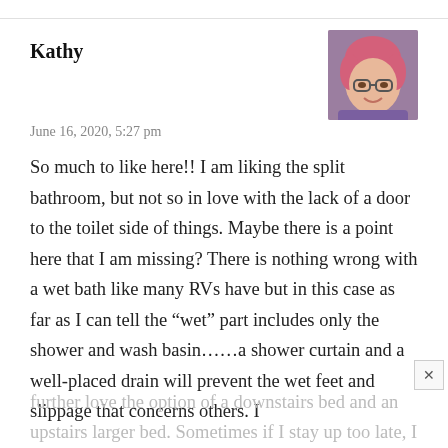Kathy
[Figure (photo): Avatar photo of a woman with pink hair and glasses]
June 16, 2020, 5:27 pm
So much to like here!! I am liking the split bathroom, but not so in love with the lack of a door to the toilet side of things. Maybe there is a point here that I am missing? There is nothing wrong with a wet bath like many RVs have but in this case as far as I can tell the “wet” part includes only the shower and wash basin……a shower curtain and a well-placed drain will prevent the wet feet and slippage that concerns others. I
further love the option of a downstairs bed and an upstairs larger bed. Sometimes if I stay up too late, I